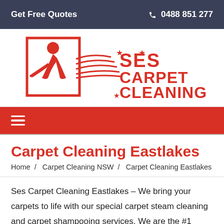Get Free Quotes   ☎ 0488 851 277
[Figure (logo): SES Carpet Cleaning logo with red text and a cleaning figure silhouette with sweeping lines]
≡ (hamburger navigation menu)
Carpet Cleaning Eastlakes
Home /  Carpet Cleaning NSW /  Carpet Cleaning Eastlakes
Ses Carpet Cleaning Eastlakes – We bring your carpets to life with our special carpet steam cleaning and carpet shampooing services. We are the #1 Carpet Cleaners in